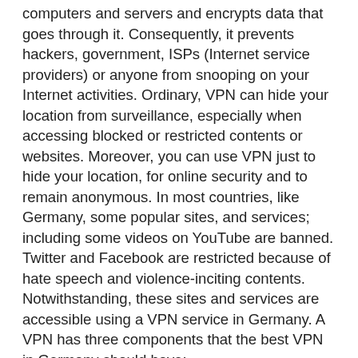computers and servers and encrypts data that goes through it. Consequently, it prevents hackers, government, ISPs (Internet service providers) or anyone from snooping on your Internet activities. Ordinary, VPN can hide your location from surveillance, especially when accessing blocked or restricted contents or websites. Moreover, you can use VPN just to hide your location, for online security and to remain anonymous. In most countries, like Germany, some popular sites, and services; including some videos on YouTube are banned. Twitter and Facebook are restricted because of hate speech and violence-inciting contents. Notwithstanding, these sites and services are accessible using a VPN service in Germany. A VPN has three components that the best VPN in Germany should have:
Security protocol – They use security protocols to protect your information when you use a VPN